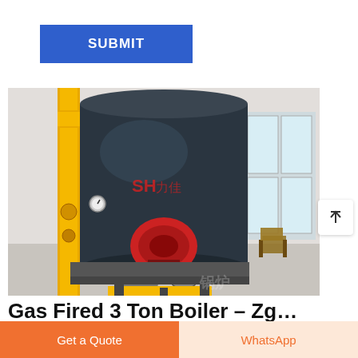SUBMIT
[Figure (photo): Gas fired industrial boiler with yellow pipes, large dark cylindrical body with red burner, installed in a factory/industrial building.]
Gas Fired 3 Ton Boiler – Zg…
fire tube industrial gasoline gas fired 3 ton steam boiler
Get a Quote
WhatsApp